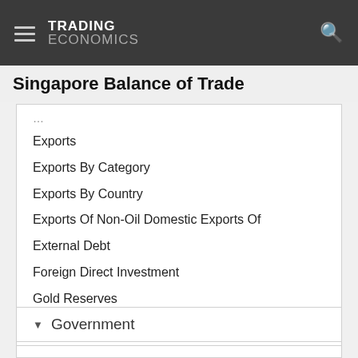TRADING ECONOMICS
Singapore Balance of Trade
Exports
Exports By Category
Exports By Country
Exports Of Non-Oil Domestic Exports Of
External Debt
Foreign Direct Investment
Gold Reserves
Imports
Imports By Category
Imports By Country
Terms Of Trade
Terrorism Index
Tourist Arrivals
Government